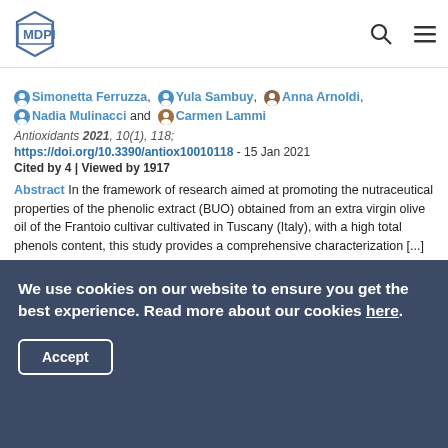[Figure (logo): MDPI logo with hexagon shape in blue]
Simonetta Ferruzza, Yula Sambuy, Anna Arnoldi, Nadia Mulinacci and Carmen Lammi
Antioxidants 2021, 10(1), 118;
https://doi.org/10.3390/antiox10010118 - 15 Jan 2021
Cited by 4 | Viewed by 1917
Abstract In the framework of research aimed at promoting the nutraceutical properties of the phenolic extract (BUO) obtained from an extra virgin olive oil of the Frantoio cultivar cultivated in Tuscany (Italy), with a high total phenols content, this study provides a comprehensive characterization [...] Read more. (This article belongs to the Special Issue Reactive Oxygen Species in Different Biological Processes)
We use cookies on our website to ensure you get the best experience. Read more about our cookies here.
Accept